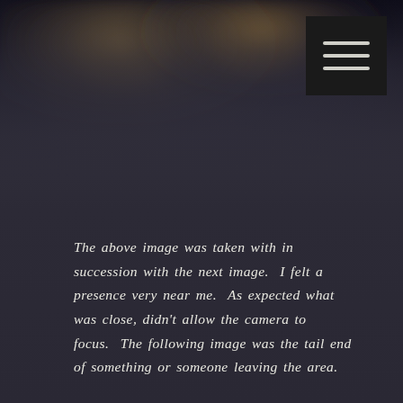[Figure (photo): Blurry dark photograph at top of page showing indistinct figures or shapes in a dimly lit environment with warm highlights]
The above image was taken with in succession with the next image.  I felt a presence very near me.  As expected what was close, didn't allow the camera to focus.  The following image was the tail end of something or someone leaving the area.